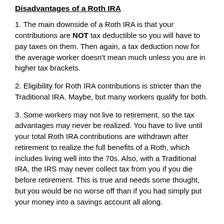Disadvantages of a Roth IRA
1. The main downside of a Roth IRA is that your contributions are NOT tax deductible so you will have to pay taxes on them. Then again, a tax deduction now for the average worker doesn't mean much unless you are in higher tax brackets.
2. Eligibility for Roth IRA contributions is stricter than the Traditional IRA. Maybe, but many workers qualify for both.
3. Some workers may not live to retirement, so the tax advantages may never be realized. You have to live until your total Roth IRA contributions are withdrawn after retirement to realize the full benefits of a Roth, which includes living well into the 70s. Also, with a Traditional IRA, the IRS may never collect tax from you if you die before retirement. This is true and needs some thought, but you would be no worse off than if you had simply put your money into a savings account all along.